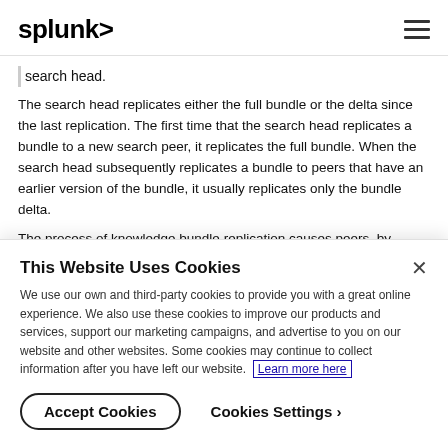splunk>
search head.
The search head replicates either the full bundle or the delta since the last replication. The first time that the search head replicates a bundle to a new search peer, it replicates the full bundle. When the search head subsequently replicates a bundle to peers that have an earlier version of the bundle, it usually replicates only the bundle delta.
The process of knowledge bundle replication causes peers, by default, to receive nearly the entire contents of the search head's
This Website Uses Cookies
We use our own and third-party cookies to provide you with a great online experience. We also use these cookies to improve our products and services, support our marketing campaigns, and advertise to you on our website and other websites. Some cookies may continue to collect information after you have left our website. Learn more here
Accept Cookies
Cookies Settings ›